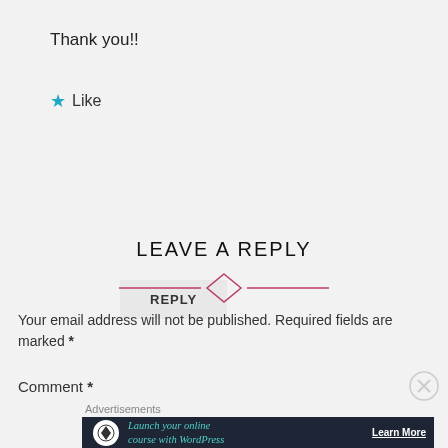Thank you!!
★ Like
REPLY
LEAVE A REPLY
[Figure (illustration): Decorative divider: horizontal pink lines flanking a diamond/rhombus outline in pink]
Your email address will not be published. Required fields are marked *
Comment *
[Figure (illustration): Close/dismiss button (circled X) in grey]
Advertisements
[Figure (infographic): Dark advertisement banner: 'Launch your online course with WordPress' with Learn More button]